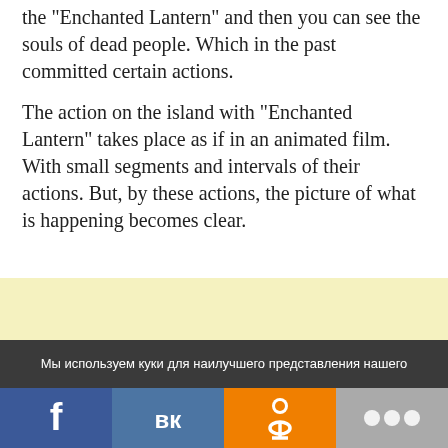the “Enchanted Lantern” and then you can see the souls of dead people. Which in the past committed certain actions.
The action on the island with “Enchanted Lantern” takes place as if in an animated film. With small segments and intervals of their actions. But, by these actions, the picture of what is happening becomes clear.
[Figure (other): Yellow advertisement banner area]
[Figure (other): Light yellow secondary advertisement banner area]
Мы используем куки для наилучшего представления нашего
[Figure (other): Social media sharing buttons: Facebook, VKontakte, Odnoklassniki, and more options (shown as three dots)]